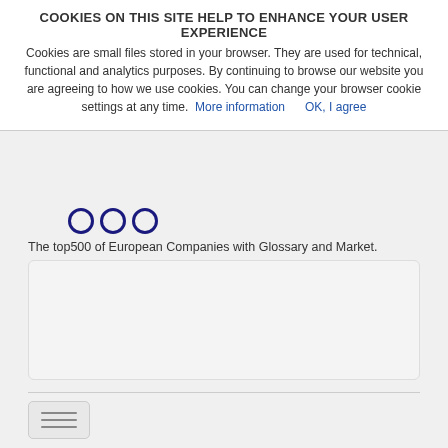COOKIES ON THIS SITE HELP TO ENHANCE YOUR USER EXPERIENCE
Cookies are small files stored in your browser. They are used for technical, functional and analytics purposes. By continuing to browse our website you are agreeing to how we use cookies. You can change your browser cookie settings at any time.  More information    OK, I agree
[Figure (logo): Three circular navy-blue ring logo icons for top500 website]
The top500 of European Companies with Glossary and Market.
[Figure (screenshot): Light grey content/search box area]
[Figure (other): Hamburger menu button with three horizontal lines]
You are here:   top500 Home  ▶  Address Lists  ▶  Pecquencourt in France